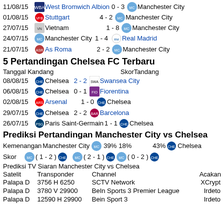11/08/15 West Bromwich Albion 0 - 3 Manchester City
01/08/15 Stuttgart 4 - 2 Manchester City
27/07/15 Vietnam 1 - 8 Manchester City
24/07/15 Manchester City 1 - 4 Real Madrid
21/07/15 As Roma 2 - 2 Manchester City
5 Pertandingan Chelsea FC Terbaru
Tanggal Kandang    SkorTandang
08/08/15 Chelsea 2 - 2 Swansea City
06/08/15 Chelsea 0 - 1 Fiorentina
02/08/15 Arsenal 1 - 0 Chelsea
29/07/15 Chelsea 2 - 2 Barcelona
26/07/15 Paris Saint-Germain 1 - 1 Chelsea
Prediksi Pertandingan Manchester City vs Chelsea
Kemenangan Manchester City 39% 18% 43% Chelsea
Skor (1-2) (2-1) (0-2)
Prediksi TV Siaran Manchester City vs Chelsea
| Satelit | Transponder | Channel | Acakan |
| --- | --- | --- | --- |
| Palapa D | 3756 H 6250 | SCTV Network | XCrypt |
| Palapa D | 3780 V 29900 | BeIn Sports 3 Premier League | Irdeto |
| Palapa D | 12590 H 29900 | Bein Sport 3 | Irdeto |